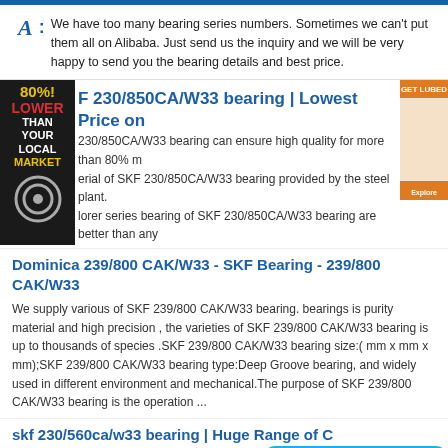A: We have too many bearing series numbers. Sometimes we can't put them all on Alibaba. Just send us the inquiry and we will be very happy to send you the bearing details and best price.
F 230/850CA/W33 bearing | Lowest Price on
230/850CA/W33 bearing can ensure high quality for more than 80% m erial of SKF 230/850CA/W33 bearing provided by the steel plant. lorer series bearing of SKF 230/850CA/W33 bearing are better than any nd bearings currently in bearing performance , lifetime, design, and the of performance.
Dominica 239/800 CAK/W33 - SKF Bearing - 239/800 CAK/W33
We supply various of SKF 239/800 CAK/W33 bearing. bearings is purity material and high precision , the varieties of SKF 239/800 CAK/W33 bearing is up to thousands of species .SKF 239/800 CAK/W33 bearing size:( mm x mm x mm);SKF 239/800 CAK/W33 bearing type:Deep Groove bearing, and widely used in different environment and mechanical.The purpose of SKF 239/800 CAK/W33 bearing is the operation ...
skf 230/560ca/w33 bearing | Huge Range of C
We supply high-quality and best service for skf 230/560c 230/560ca/w33 bearing are widely used in motor, industrial machinery, CNC